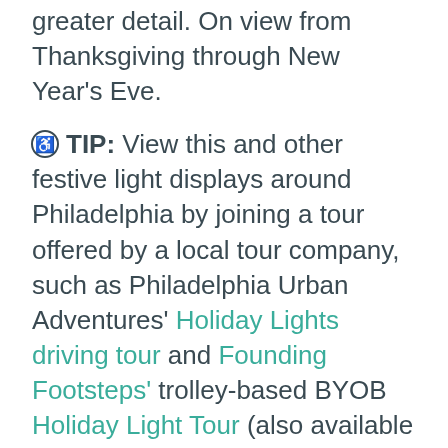greater detail. On view from Thanksgiving through New Year's Eve.
TIP: View this and other festive light displays around Philadelphia by joining a tour offered by a local tour company, such as Philadelphia Urban Adventures' Holiday Lights driving tour and Founding Footsteps' trolley-based BYOB Holiday Light Tour (also available as a private tour).
Warm up with hot chocolate and festive cocktails you can enjoy